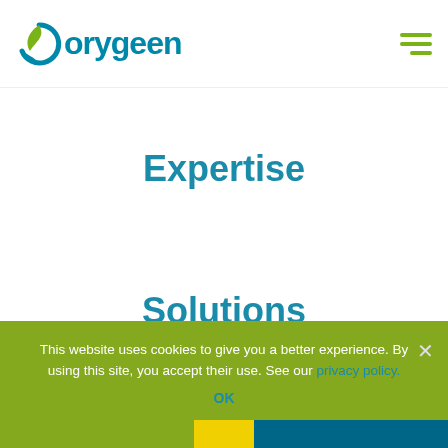[Figure (logo): Orygeen logo with circular icon and teal text]
Expertise
Solutions
This website uses cookies to give you a better experience. By using this site, you accept their use. See our privacy policy.
OK